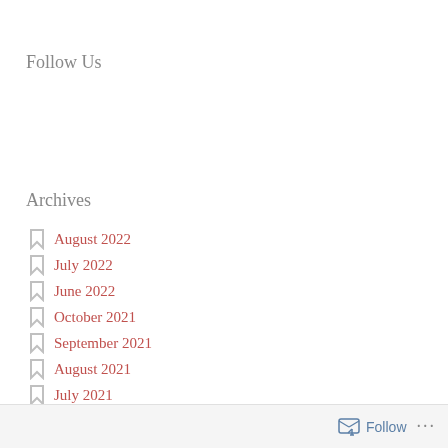Follow Us
Archives
August 2022
July 2022
June 2022
October 2021
September 2021
August 2021
July 2021
Follow ...